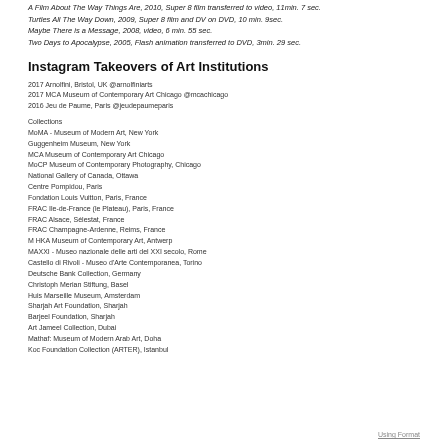A Film About The Way Things Are, 2010, Super 8 film transferred to video, 11min. 7 sec.
Turtles All The Way Down, 2009, Super 8 film and DV on DVD, 10 min. 9sec.
Maybe There is a Message, 2008, video, 6 min. 55 sec.
Two Days to Apocalypse, 2005, Flash animation transferred to DVD, 3min. 29 sec.
Instagram Takeovers of Art Institutions
2017 Arnolfini, Bristol, UK @arnolfiniarts
2017 MCA Museum of Contemporary Art Chicago @mcachicago
2016 Jeu de Paume, Paris @jeudepaumeparis
Collections
MoMA - Museum of Modern Art, New York
Guggenheim Museum, New York
MCA Museum of Contemporary Art Chicago
MoCP Museum of Contemporary Photography, Chicago
National Gallery of Canada, Ottawa
Centre Pompidou, Paris
Fondation Louis Vuitton, Paris, France
FRAC Ile-de-France (le Plateau), Paris, France
FRAC Alsace, Sélestat, France
FRAC Champagne-Ardenne, Reims, France
M HKA Museum of Contemporary Art, Antwerp
MAXXI - Museo nazionale delle arti del XXI secolo, Rome
Castello di Rivoli - Museo d'Arte Contemporanea, Torino
Deutsche Bank Collection, Germany
Christoph Merian Stiftung, Basel
Huis Marseille Museum, Amsterdam
Sharjah Art Foundation, Sharjah
Barjeel Foundation, Sharjah
Art Jameel Collection, Dubai
Mathaf: Museum of Modern Arab Art, Doha
Koc Foundation Collection (ARTER), Istanbul
Using Format